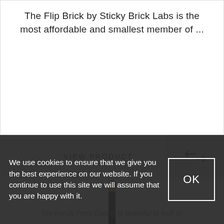The Flip Brick by Sticky Brick Labs is the most affordable and smallest member of ...
VIEW PRODUCT
[Figure (illustration): A slender pen-style vaporizer (Kandy Pens Galaxy) standing vertically, dark body with gold/bronze accent at the top mouthpiece.]
We use cookies to ensure that we give you the best experience on our website. If you continue to use this site we will assume that you are happy with it.
The Kandy Pens Galaxy is beautiful to look at.